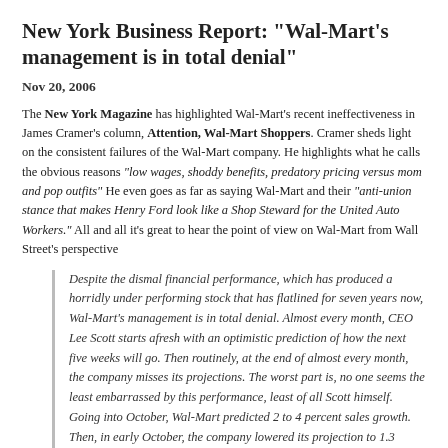New York Business Report: "Wal-Mart's management is in total denial"
Nov 20, 2006
The New York Magazine has highlighted Wal-Mart's recent ineffectiveness in James Cramer's column, Attention, Wal-Mart Shoppers. Cramer sheds light on the consistent failures of the Wal-Mart company. He highlights what he calls the obvious reasons "low wages, shoddy benefits, predatory pricing versus mom and pop outfits" He even goes as far as saying Wal-Mart and their "anti-union stance that makes Henry Ford look like a Shop Steward for the United Auto Workers." All and all it's great to hear the point of view on Wal-Mart from Wall Street's perspective
Despite the dismal financial performance, which has produced a horridly under performing stock that has flatlined for seven years now, Wal-Mart's management is in total denial. Almost every month, CEO Lee Scott starts afresh with an optimistic prediction of how the next five weeks will go. Then routinely, at the end of almost every month, the company misses its projections. The worst part is, no one seems the least embarrassed by this performance, least of all Scott himself. Going into October, Wal-Mart predicted 2 to 4 percent sales growth. Then, in early October, the company lowered its projection to 1.3 percent. When it finished the month, Wal-Mart turned out to have